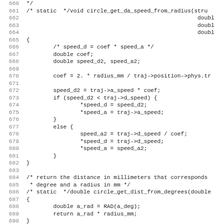Source code listing lines 660-691, C function circle_get_da_speed_from_radius and circle_get_dist_from_degrees